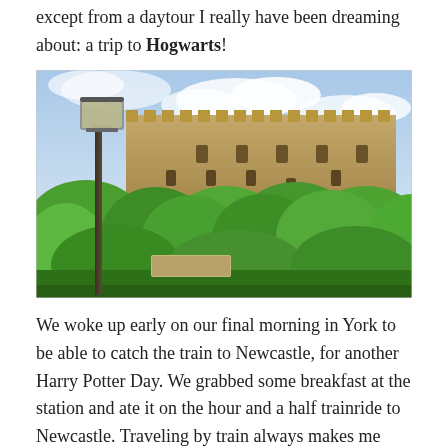except from a daytour I really have been dreaming about: a trip to Hogwarts!
[Figure (photo): A medieval stone castle with crenellated towers rises above a dense canopy of green trees under a partly cloudy blue sky. A Victorian-style iron lamp post stands in the foreground on the left.]
We woke up early on our final morning in York to be able to catch the train to Newcastle, for another Harry Potter Day. We grabbed some breakfast at the station and ate it on the hour and a half trainride to Newcastle. Traveling by train always makes me tired, but luckily our hotel (on